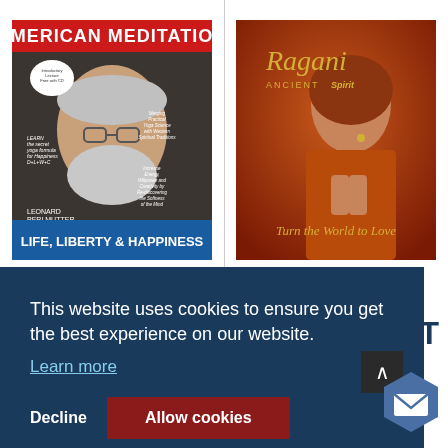[Figure (photo): American Meditation book cover by Leonard Perlmutter. Red banner at top reads 'American Meditation'. Cover shows a bearded man with glasses. Bottom blue banner reads 'Life, Liberty & Happiness'.]
[Figure (photo): Ragani Ancient Spirit album cover 'Turn the World to Love'. Shows a woman in orange/red attire with hands in prayer position on warm red-orange background.]
This website uses cookies to ensure you get the best experience on our website.
Learn more
Decline
Allow cookies
ENT